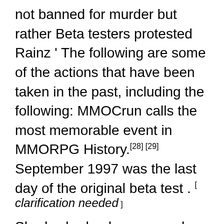not banned for murder but rather Beta testers protested Rainz ' The following are some of the actions that have been taken in the past, including the following: MMOCrun calls the most memorable event in MMORPG History.[28][29] September 1997 was the last day of the original beta test . [ clarification needed ] Shadowlords, demons, and other evil creatures slaughtering every character in sight.
Origin era (1995-2004)
In September 1997, Ultima Online launched and opened the first game servers to the public. [30] Upon release, Ultima Online proved popular, reaching 100,000 paying subscribers within six months,